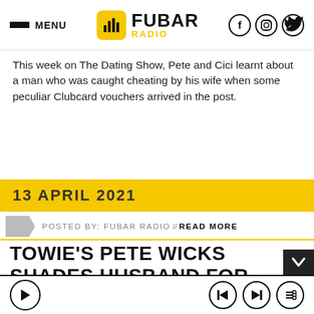MENU | FUBAR RADIO | Social icons
This week on The Dating Show, Pete and Cici learnt about a man who was caught cheating by his wife when some peculiar Clubcard vouchers arrived in the post.
13 APRIL 2021
POSTED BY: FUBAR RADIO // READ MORE
TOWIE'S PETE WICKS SHADES HUSBAND FOR BODY-SHAMING HIS WIFE
Player bar with play, skip, and menu controls